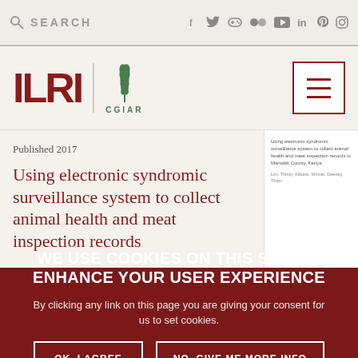SEARCH | social icons: f, twitter, skull/game, flickr, youtube, linkedin, pinterest, instagram
[Figure (logo): ILRI CGIAR logo with wheat/plant emblem in green, and hamburger menu button]
Published 2017
Using electronic syndromic surveillance system to collect animal health and meat inspection records
[Figure (screenshot): Article thumbnail showing small text of the article title and authors]
WE USE COOKIES ON THIS SITE TO ENHANCE YOUR USER EXPERIENCE
By clicking any link on this page you are giving your consent for us to set cookies.
OK, I AGREE
NO, GIVE ME MORE INFO